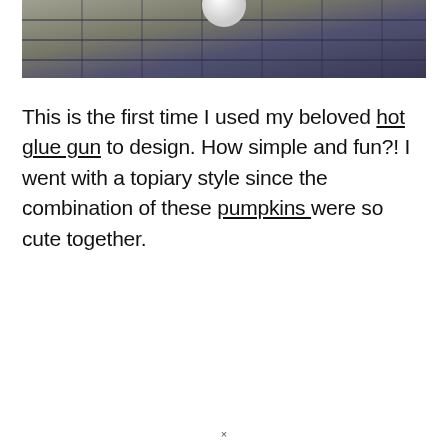[Figure (photo): Photograph showing a plaid fabric background with a white ball/ornament partially visible at the top center]
This is the first time I used my beloved hot glue gun to design. How simple and fun?! I went with a topiary style since the combination of these pumpkins were so cute together.